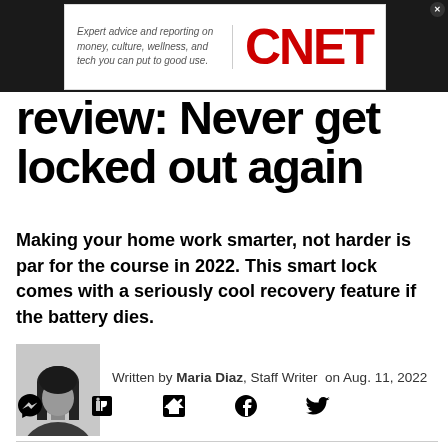[Figure (logo): CNET advertisement banner with text 'Expert advice and reporting on money, culture, wellness, and tech you can put to good use.' and CNET logo in red]
review: Never get locked out again
Making your home work smarter, not harder is par for the course in 2022. This smart lock comes with a seriously cool recovery feature if the battery dies.
[Figure (photo): Black and white headshot photo of Maria Diaz, Staff Writer]
Written by Maria Diaz, Staff Writer on Aug. 11, 2022
[Figure (infographic): Social media sharing icons: comment, LinkedIn, Flipboard, Facebook, Twitter]